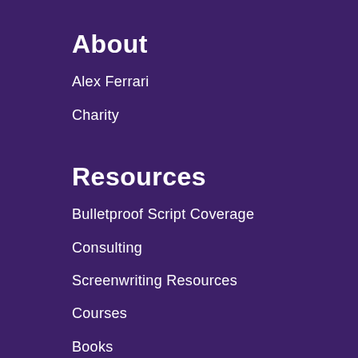About
Alex Ferrari
Charity
Resources
Bulletproof Script Coverage
Consulting
Screenwriting Resources
Courses
Books
Indie Film Hustle TV
IFH Academy